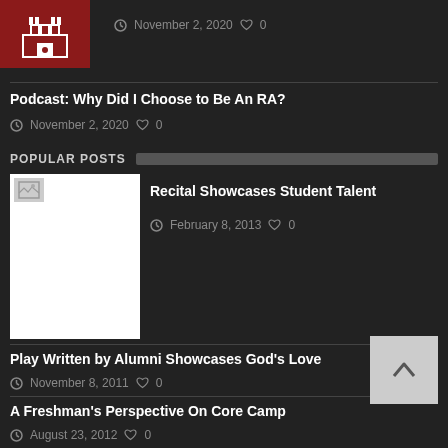[Figure (photo): Dark red thumbnail image with white building/castle icon]
November 2, 2020  ♡ 0
Podcast: Why Did I Choose to Be An RA?
November 2, 2020  ♡ 0
POPULAR POSTS
[Figure (photo): Small broken image placeholder thumbnail, white background]
Recital Showcases Student Talent
February 8, 2013  ♡ 0
Play Written by Alumni Showcases God's Love
November 8, 2011  ♡ 0
A Freshman's Perspective On Core Camp
August 23, 2012  ♡ 0
ARCHIVES